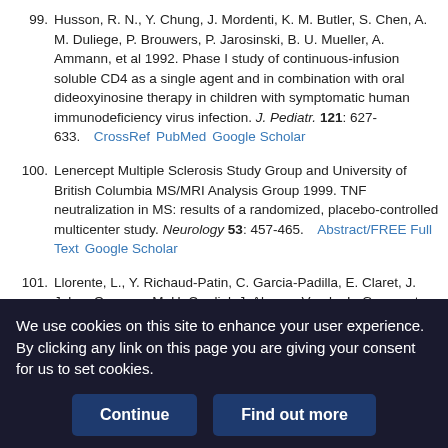99. Husson, R. N., Y. Chung, J. Mordenti, K. M. Butler, S. Chen, A. M. Duliege, P. Brouwers, P. Jarosinski, B. U. Mueller, A. Ammann, et al 1992. Phase I study of continuous-infusion soluble CD4 as a single agent and in combination with oral dideoxyinosine therapy in children with symptomatic human immunodeficiency virus infection. J. Pediatr. 121: 627-633. CrossRef PubMed Google Scholar
100. Lenercept Multiple Sclerosis Study Group and University of British Columbia MS/MRI Analysis Group 1999. TNF neutralization in MS: results of a randomized, placebo-controlled multicenter study. Neurology 53: 457-465. Abstract/FREE Full Text Google Scholar
101. Llorente, L., Y. Richaud-Patin, C. Garcia-Padilla, E. Claret, J. Jakez-Ocampo, M. H. Cardiel, J. Alcocer-Varela, L. Grangeot-Keros, D. Alarcon-Segovia, J. Wijdenes, et al 2000. Clinical and biologic effects of anti-interleukin-10 monoclonal antibody administration in systemic lupus
We use cookies on this site to enhance your user experience. By clicking any link on this page you are giving your consent for us to set cookies.